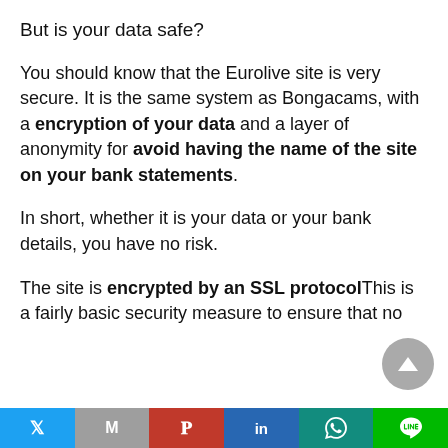But is your data safe?
You should know that the Eurolive site is very secure. It is the same system as Bongacams, with a encryption of your data and a layer of anonymity for avoid having the name of the site on your bank statements.
In short, whether it is your data or your bank details, you have no risk.
The site is encrypted by an SSL protocolThis is a fairly basic security measure to ensure that no